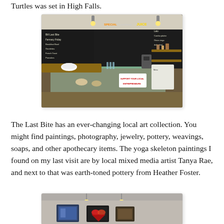Turtles was set in High Falls.
[Figure (photo): Interior of The Last Bite cafe showing a glass display counter, chalkboard menus covering the walls with handwritten specials, food items, and juice options, with shelves and equipment behind the counter.]
The Last Bite has an ever-changing local art collection. You might find paintings, photography, jewelry, pottery, weavings, soaps, and other apothecary items. The yoga skeleton paintings I found on my last visit are by local mixed media artist Tanya Rae, and next to that was earth-toned pottery from Heather Foster.
[Figure (photo): Interior of The Last Bite showing framed artwork hung on the wall including colorful paintings, with pendant lights hanging from the ceiling and an air conditioning unit on the wall.]